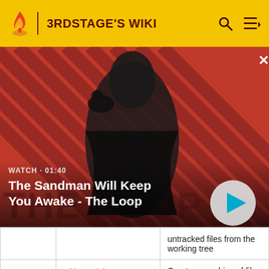3RDSTAGE'S WIKI
[Figure (screenshot): Video thumbnail showing a man in dark clothing with a raven on his shoulder against a red striped background. Text overlay: WATCH · 01:40, The Sandman Will Keep You Awake - The Loop. Play button in bottom right.]
|  |  | untracked files from the working tree |
|  | git archive | Create an archive of files from a named tree |